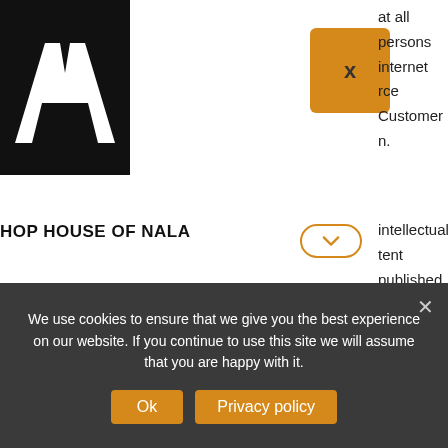[Figure (logo): AFI logo — white letters on black background]
[Figure (other): Orange card with X button]
at all persons internet rce Customer n.
HOP HOUSE OF NALA
VENTS
DIN
intellectual tent published se works are es and world. All such
We use cookies to ensure that we give you the best experience on our website. If you continue to use this site we will assume that you are happy with it.
Ok
Privacy policy